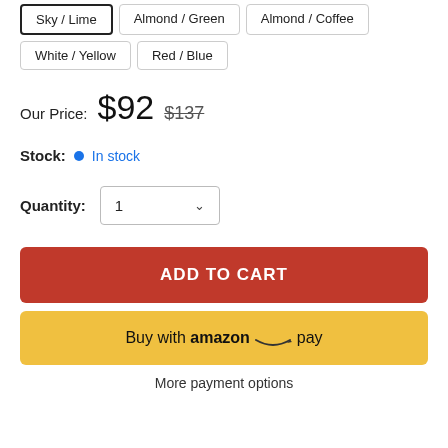Sky / Lime
Almond / Green
Almond / Coffee
White / Yellow
Red / Blue
Our Price: $92  $137
Stock: In stock
Quantity: 1
ADD TO CART
Buy with amazon pay
More payment options